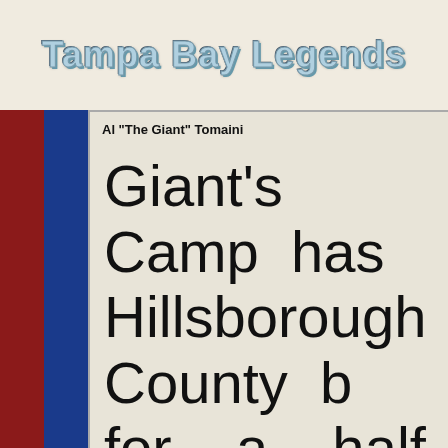Tampa Bay Legends
Al "The Giant" Tomaini
Giant's Camp has Hillsborough County b for a half century and i didn't just come out of t was started in Gibsonto and his wife, Jeanie in t a hangout for the sho gathered in the town e